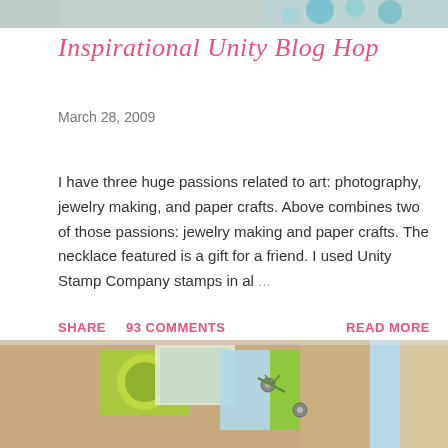[Figure (photo): Top portion of a photo showing jewelry/beads in teal and white colors, cropped at the top edge of the page]
Inspirational Unity Blog Hop
March 28, 2009
I have three huge passions related to art: photography, jewelry making, and paper crafts. Above combines two of those passions: jewelry making and paper crafts. The necklace featured is a gift for a friend. I used Unity Stamp Company stamps in al...
SHARE   93 COMMENTS   READ MORE
[Figure (photo): Bottom portion showing a paper craft/scrapbook project with green, teal, and kraft brown patterned papers, metal brad embellishments, and decorative trim]